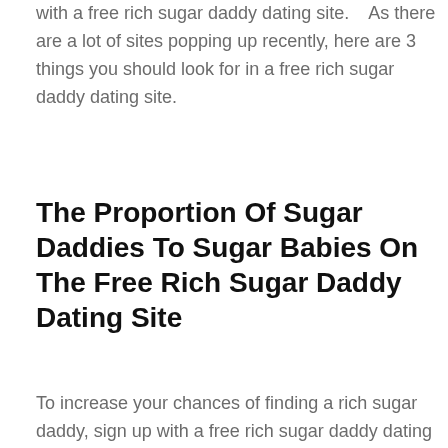with a free rich sugar daddy dating site.    As there are a lot of sites popping up recently, here are 3 things you should look for in a free rich sugar daddy dating site.
The Proportion Of Sugar Daddies To Sugar Babies On The Free Rich Sugar Daddy Dating Site
To increase your chances of finding a rich sugar daddy, sign up with a free rich sugar daddy dating site that has more sugar daddies than babies. You want to work the